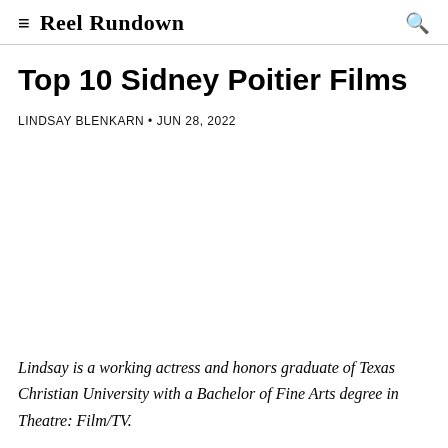≡ Reel Rundown 🔍
Top 10 Sidney Poitier Films
LINDSAY BLENKARN • JUN 28, 2022
Lindsay is a working actress and honors graduate of Texas Christian University with a Bachelor of Fine Arts degree in Theatre: Film/TV.